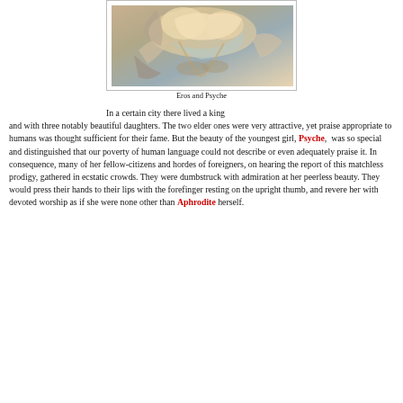[Figure (photo): Painting of Eros and Psyche — a mythological scene showing two winged figures in motion with flowing drapery, warm golden tones]
Eros and Psyche
In a certain city there lived a king and with three notably beautiful daughters. The two elder ones were very attractive, yet praise appropriate to humans was thought sufficient for their fame. But the beauty of the youngest girl, Psyche, was so special and distinguished that our poverty of human language could not describe or even adequately praise it. In consequence, many of her fellow-citizens and hordes of foreigners, on hearing the report of this matchless prodigy, gathered in ecstatic crowds. They were dumbstruck with admiration at her peerless beauty. They would press their hands to their lips with the forefinger resting on the upright thumb, and revere her with devoted worship as if she were none other than Aphrodite herself.